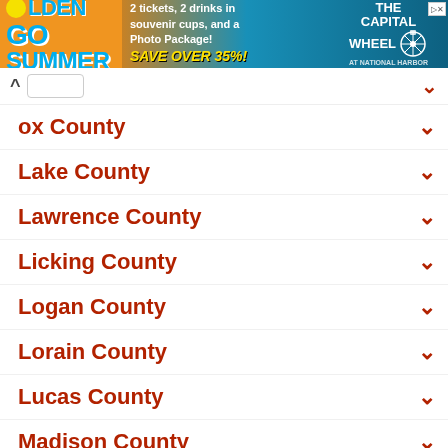[Figure (illustration): Golden Summer advertisement banner with Capital Wheel promotion: 2 tickets, 2 drinks in souvenir cups, and a Photo Package. Save over 35%!]
ox County
Lake County
Lawrence County
Licking County
Logan County
Lorain County
Lucas County
Madison County
Mahoning County
Marion County